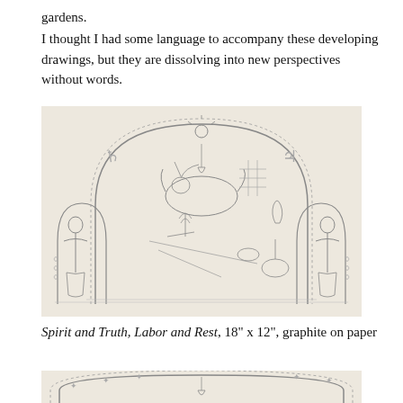gardens.
I thought I had some language to accompany these developing drawings, but they are dissolving into new perspectives without words.
[Figure (illustration): A detailed pencil/graphite drawing showing a complex allegorical or medieval-style composition. A large arched frame encloses a central scene with a unicorn or mythical beast resting among scattered objects including musical instruments, tools, and other items. On the left stands a robed male figure, on the right a robed female figure. The arch is decorated with dots/beads. Above the arch, symbols appear at the upper left and right. A sun or celestial symbol hangs from the top center of the arch. Two smaller side arches flank the main composition. The background suggests a landscape.]
Spirit and Truth, Labor and Rest, 18" x 12", graphite on paper
[Figure (illustration): Partial view of another graphite drawing, showing the bottom portion of a similar arch with a hanging lantern or teardrop shape in the center, and star-like symbols along the arch border.]